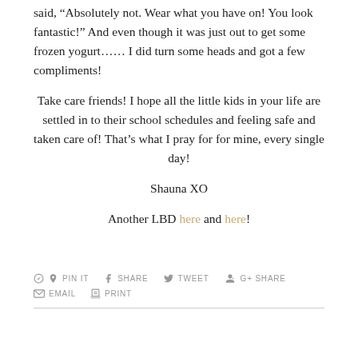said, “Absolutely not. Wear what you have on! You look fantastic!” And even though it was just out to get some frozen yogurt…… I did turn some heads and got a few compliments!
Take care friends! I hope all the little kids in your life are settled in to their school schedules and feeling safe and taken care of! That’s what I pray for for mine, every single day!
Shauna XO
Another LBD here and here!
PIN IT  SHARE  TWEET  G+ SHARE  EMAIL  PRINT